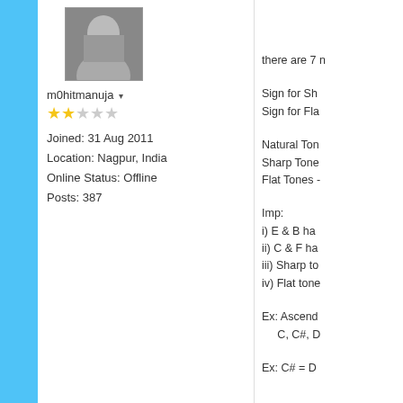[Figure (photo): Profile photo of user m0hitmanuja - a man's face]
m0hitmanuja ▾
[Figure (other): 2 out of 5 star rating shown with yellow and grey stars]
Joined: 31 Aug 2011
Location: Nagpur, India
Online Status: Offline
Posts: 387
there are 7 n
Sign for Sh
Sign for Fla
Natural Ton
Sharp Tone
Flat Tones -
Imp:
i) E & B ha
ii) C & F ha
iii) Sharp to
iv) Flat tone
Ex: Ascend
     C, C#, D
Ex: C# = D
Lesson 3: N